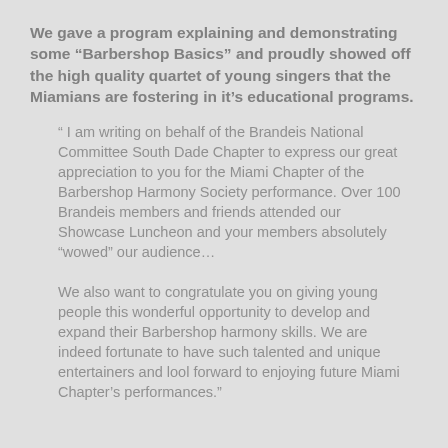We gave a program explaining and demonstrating some “Barbershop Basics” and proudly showed off the high quality quartet of young singers that the Miamians are fostering in it’s educational programs.
“ I am writing on behalf of the Brandeis National Committee South Dade Chapter to express our great appreciation to you for the Miami Chapter of the Barbershop Harmony Society performance. Over 100 Brandeis members and friends attended our Showcase Luncheon and your members absolutely “wowed” our audience...
We also want to congratulate you on giving young people this wonderful opportunity to develop and expand their Barbershop harmony skills. We are indeed fortunate to have such talented and unique entertainers and lool forward to enjoying future Miami Chapter’s performances.”